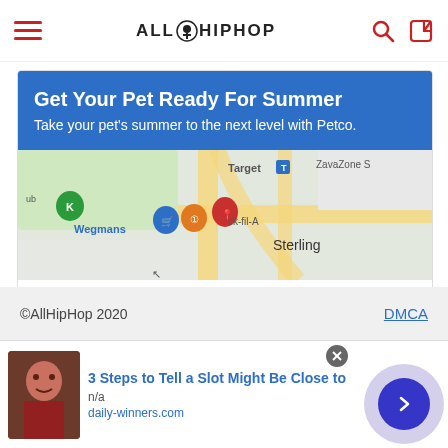ALLHIPHOP
[Figure (screenshot): Petco advertisement: 'Get Your Pet Ready For Summer - Take your pet's summer to the next level with Petco.' with a map showing location near Wegmans, Target, Chick-fil-A in Sterling area, and two buttons: Store info and Directions]
©AllHipHop 2020   DMCA
[Figure (screenshot): Bottom ad bar: '3 Steps to Tell a Slot Might Be Close to' from daily-winners.com with a photo of a man and a navigation arrow button]